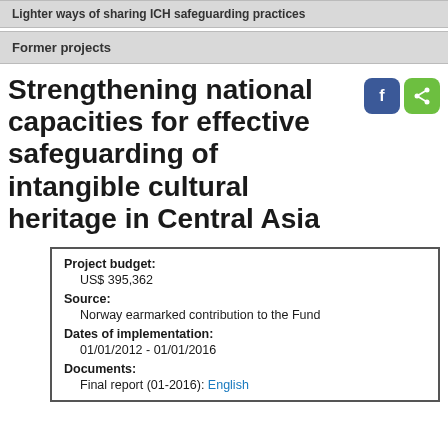Lighter ways of sharing ICH safeguarding practices
Former projects
Strengthening national capacities for effective safeguarding of intangible cultural heritage in Central Asia
| Project budget: | US$ 395,362 |
| Source: | Norway earmarked contribution to the Fund |
| Dates of implementation: | 01/01/2012 - 01/01/2016 |
| Documents: | Final report (01-2016): English |